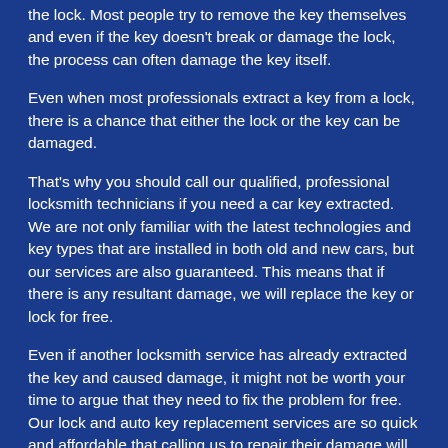the lock. Most people try to remove the key themselves and even if the key doesn't break or damage the lock, the process can often damage the key itself.
Even when most professionals extract a key from a lock, there is a chance that either the lock or the key can be damaged.
That's why you should call our qualified, professional locksmith technicians if you need a car key extracted. We are not only familiar with the latest technologies and key types that are installed in both old and new cars, but our services are also guaranteed. This means that if there is any resultant damage, we will replace the key or lock for free.
Even if another locksmith service has already extracted the key and caused damage, it might not be worth your time to argue that they need to fix the problem for free. Our lock and auto key replacement services are so quick and affordable that calling us to repair their damage will often save you time and money!
BROKEN CAR KEY
If your car key is actually broken, you should call for help immediately. Calling our auto locksmith hotline will make it easy to get your car back on the road without delay.